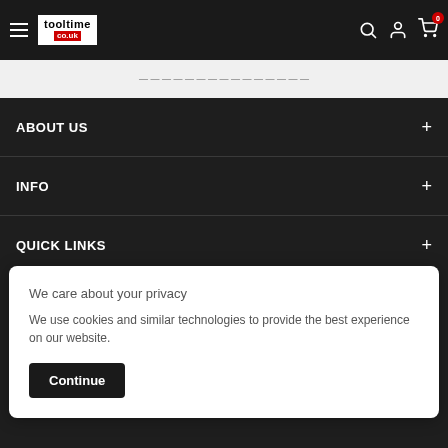tooltime co.uk — navigation header with hamburger menu, logo, search icon, account icon, cart icon with badge 0
— — — — — — — — — — — — — — —
ABOUT US +
INFO +
QUICK LINKS +
We care about your privacy

We use cookies and similar technologies to provide the best experience on our website.

Continue